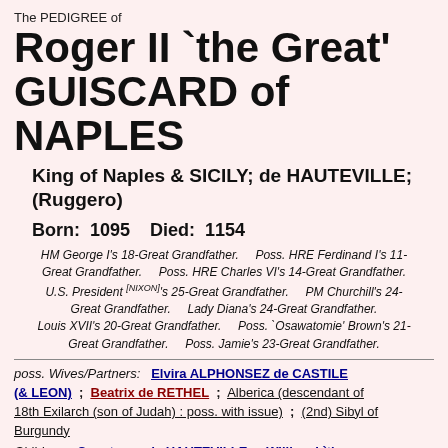The PEDIGREE of
Roger II `the Great' GUISCARD of NAPLES
King of Naples & SICILY; de HAUTEVILLE; (Ruggero)
Born: 1095    Died: 1154
HM George I's 18-Great Grandfather.      Poss. HRE Ferdinand I's 11-Great Grandfather.      Poss. HRE Charles VI's 14-Great Grandfather.      U.S. President [NIXON]'s 25-Great Grandfather.      PM Churchill's 24-Great Grandfather.      Lady Diana's 24-Great Grandfather.      Louis XVII's 20-Great Grandfather.      Poss. `Osawatomie' Brown's 21-Great Grandfather.      Poss. Jamie's 23-Great Grandfather.
poss. Wives/Partners: Elvira ALPHONSEZ de CASTILE (& LEON) ; Beatrix de RETHEL ; Alberica (descendant of 18th Exilarch (son of Judah) : poss. with issue) ; (2nd) Sibyl of Burgundy
Children: Constance de HAUTEVILLE ; William I `the Bad' (King) of NAPLES & Sicily ; Roger III de